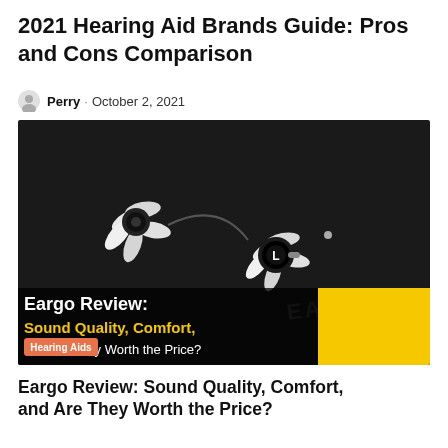2021 Hearing Aid Brands Guide: Pros and Cons Comparison
Perry · October 2, 2021
[Figure (photo): Product photo of Eargo hearing aids on a dark surface with 'EARGO' branding. Overlaid text reads 'Eargo Review: Sound Quality, Comfort, and Are They Worth the Price?' with a yellow rectangle. A 'Hearing Aids' label tag is visible.]
Eargo Review: Sound Quality, Comfort, and Are They Worth the Price?